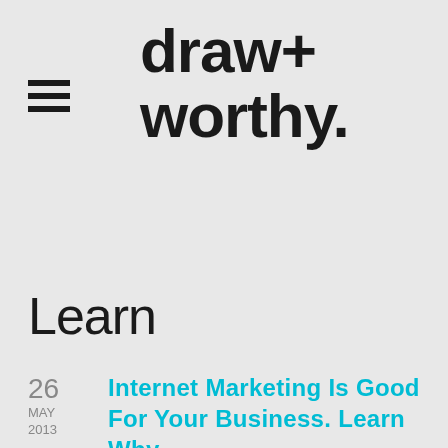[Figure (logo): draw+worthy. brand logo in bold black text with hamburger menu icon to the left]
Learn
26 MAY 2013
Internet Marketing Is Good For Your Business. Learn Why.
If promoting your business is something you want to do, then online marketing opportunities are available and effective. You can specifically identify and target certain demographic audiences and communicate